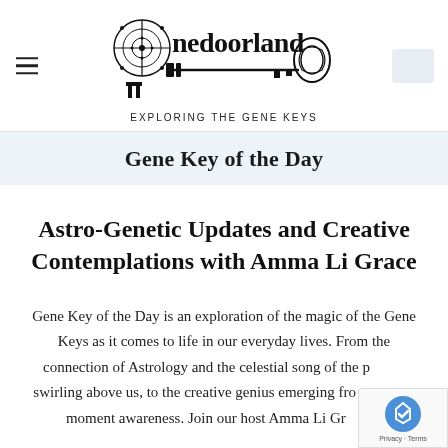[Figure (logo): Onedoorland logo with key and Celtic design, subtitle 'Exploring the Gene Keys']
Gene Key of the Day
Astro-Genetic Updates and Creative Contemplations with Amma Li Grace
Gene Key of the Day is an exploration of the magic of the Gene Keys as it comes to life in our everyday lives. From the connection of Astrology and the celestial song of the planets swirling above us, to the creative genius emerging from present moment awareness. Join our host Amma Li Grace as